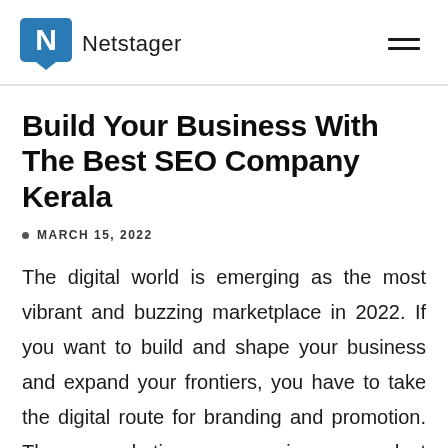Netstager
Build Your Business With The Best SEO Company Kerala
MARCH 15, 2022
The digital world is emerging as the most vibrant and buzzing marketplace in 2022. If you want to build and shape your business and expand your frontiers, you have to take the digital route for branding and promotion. The marketing campaign, product cataloguing, and every other aspect of business now depend on